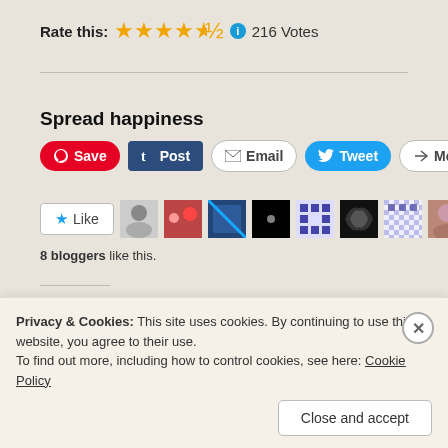Rate this: ★★★★½ ℹ 216 Votes
Spread happiness
[Figure (infographic): Social share buttons: Save (Pinterest), Post (Tumblr), Email, Tweet (Twitter), More]
[Figure (infographic): Like button and 8 blogger avatar thumbnails]
8 bloggers like this.
Related
[Figure (illustration): Two related post thumbnail images side by side]
Privacy & Cookies: This site uses cookies. By continuing to use this website, you agree to their use. To find out more, including how to control cookies, see here: Cookie Policy
Close and accept